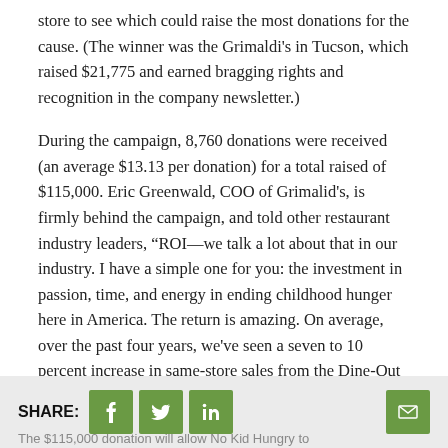store to see which could raise the most donations for the cause. (The winner was the Grimaldi's in Tucson, which raised $21,775 and earned bragging rights and recognition in the company newsletter.)
During the campaign, 8,760 donations were received (an average $13.13 per donation) for a total raised of $115,000. Eric Greenwald, COO of Grimalid's, is firmly behind the campaign, and told other restaurant industry leaders, “ROI—we talk a lot about that in our industry. I have a simple one for you: the investment in passion, time, and energy in ending childhood hunger here in America. The return is amazing. On average, over the past four years, we've seen a seven to 10 percent increase in same-store sales from the Dine-Out promotion.”
SHARE: [Facebook] [Twitter] [LinkedIn] [Email]
The $115,000 donation will allow No Kid Hungry to